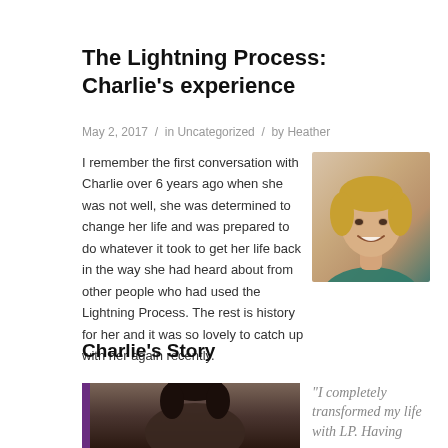The Lightning Process: Charlie’s experience
May 2, 2017 / in Uncategorized / by Heather
I remember the first conversation with Charlie over 6 years ago when she was not well, she was determined to change her life and was prepared to do whatever it took to get her life back in the way she had heard about from other people who had used the Lightning Process. The rest is history for her and it was so lovely to catch up with her again recently.
[Figure (photo): Portrait photo of a smiling blonde woman]
Charlie’s Story
[Figure (photo): Photo of a woman with dark hair, partially visible at bottom of page]
“I completely transformed my life with LP. Having